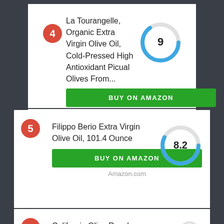4 — La Tourangelle, Organic Extra Virgin Olive Oil, Cold-Pressed High Antioxidant Picual Olives From...
[Figure (donut-chart): Score]
BUY ON AMAZON
Amazon.com
5 — Filippo Berio Extra Virgin Olive Oil, 101.4 Ounce
[Figure (donut-chart): Score]
BUY ON AMAZON
Amazon.com
6 — California Olive Ranch,
[Figure (donut-chart): Score]